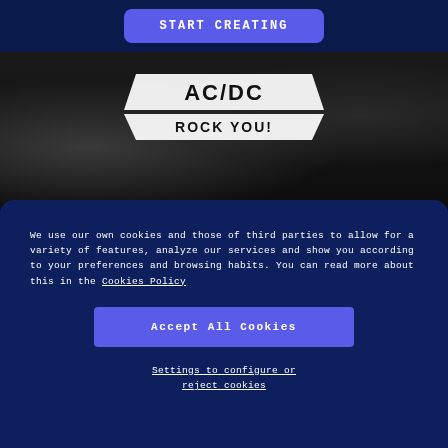[Figure (screenshot): Dark navy top bar with a purple rounded 'START CREATING' button centered at top]
[Figure (photo): AC/DC band promotional image with dark textured background. A white ribbon banner shows 'AC/DC' in bold black text and below it another ribbon reads 'ROCK YOU!']
We use our own cookies and those of third parties to allow for a variety of features, analyze our services and show you according to your preferences and browsing habits. You can read more about this in the Cookies Policy
[Figure (screenshot): Purple 'Accept All Cookies' button]
Settings to configure or reject cookies